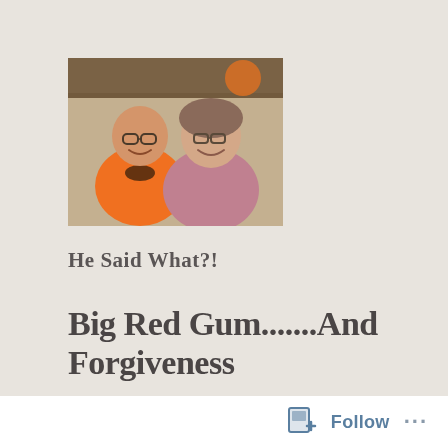[Figure (photo): Two people sitting together at a restaurant or cafe — a man wearing an orange t-shirt with a dog silhouette on the left, and a woman in a pink top on the right, both smiling]
He Said What?!
Big Red Gum.......And Forgiveness
I want to share something that happened yesterday...
Follow ...